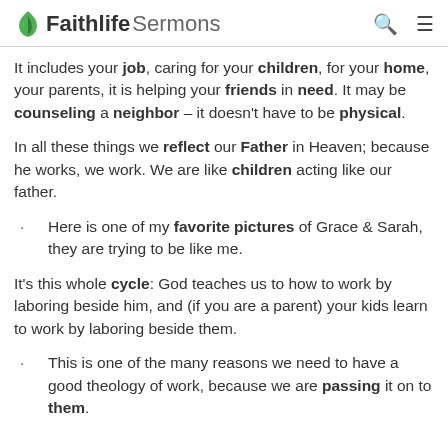Faithlife Sermons
It includes your job, caring for your children, for your home, your parents, it is helping your friends in need. It may be counseling a neighbor – it doesn't have to be physical.
In all these things we reflect our Father in Heaven; because he works, we work. We are like children acting like our father.
Here is one of my favorite pictures of Grace & Sarah, they are trying to be like me.
It's this whole cycle: God teaches us to how to work by laboring beside him, and (if you are a parent) your kids learn to work by laboring beside them.
This is one of the many reasons we need to have a good theology of work, because we are passing it on to them.